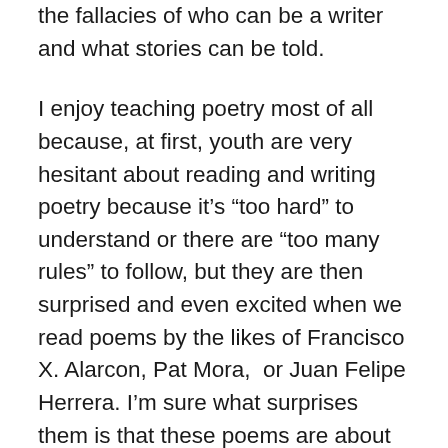the fallacies of who can be a writer and what stories can be told.
I enjoy teaching poetry most of all because, at first, youth are very hesitant about reading and writing poetry because it's “too hard” to understand or there are “too many rules” to follow, but they are then surprised and even excited when we read poems by the likes of Francisco X. Alarcon, Pat Mora,  or Juan Felipe Herrera. I’m sure what surprises them is that these poems are about tortillas, abuelas, or about barrios like the ones in which they live. The idea here is not to essentialize their Latinx experiences, or their experiences as children of color for that matter, but stories about cultural foods, grandmas, immigration, class, and the like still resonate with children and young adults of color for a reason. Even if they are exposed to writers of color in their classrooms, students